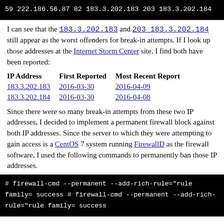[Figure (screenshot): Black terminal/code block showing IP address data: 59 222.186.56.87, 82 183.3.202.183, 203 183.3.202.184]
I can see that the 183.3.202.183 and 203 183.3.202.184 still appear as the worst offenders for break-in attempts. If I look up those addresses at the Internet Storm Center site, I find both have been reported:
| IP Address | First Reported | Most Recent Report |
| --- | --- | --- |
| 183.3.202.183 | 2016-03-30 | 2016-04-09 |
| 183.3.202.184 | 2016-03-30 | 2016-04-08 |
Since there were so many break-in attempts from these two IP addresses, I decided to implement a permanent firewall block against both IP addresses. Since the server to which they were attempting to gain access is a CentOS 7 system running FirewallD as the firewall software, I used the following commands to permanently ban those IP addresses.
[Figure (screenshot): Black terminal block showing firewall commands: # firewall-cmd --permanent --add-rich-rule="rule family= success, # firewall-cmd --permanent --add-rich-rule="rule family= success]